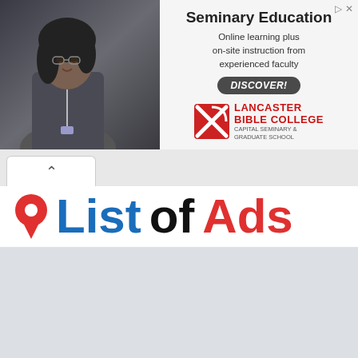[Figure (screenshot): Advertisement banner for Lancaster Bible College Seminary Education. Shows a woman smiling on the left side with text 'Seminary Education - Online learning plus on-site instruction from experienced faculty' and a DISCOVER! button. Lancaster Bible College Capital Seminary & Graduate School logo on right.]
[Figure (screenshot): Browser tab bar with a single tab showing an up-chevron arrow icon]
List of Ads